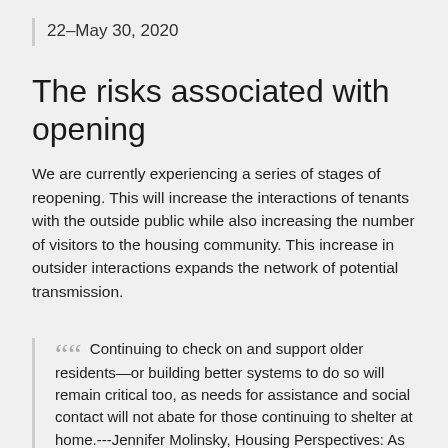22–May 30, 2020
The risks associated with opening
We are currently experiencing a series of stages of reopening. This will increase the interactions of tenants with the outside public while also increasing the number of visitors to the housing community. This increase in outsider interactions expands the network of potential transmission.
““ Continuing to check on and support older residents—or building better systems to do so will remain critical too, as needs for assistance and social contact will not abate for those continuing to shelter at home.---Jennifer Molinsky, Housing Perspectives: As Economy Reopens, Guidance Must Consider Older Adults' Living Situations, June 22, 2020;